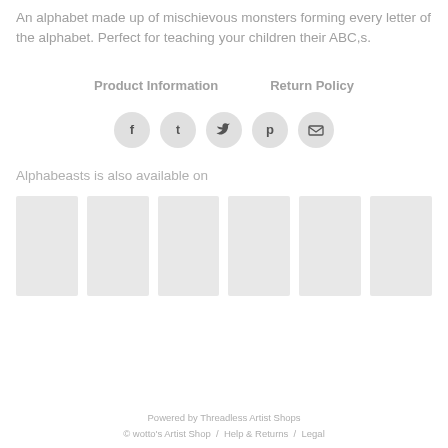An alphabet made up of mischievous monsters forming every letter of the alphabet. Perfect for teaching your children their ABC,s.
Product Information    Return Policy
[Figure (infographic): Row of 5 social media icon circles: Facebook (f), Tumblr (t), Twitter bird, Pinterest (p), Email (envelope)]
Alphabeasts is also available on
[Figure (other): Six light grey product thumbnail placeholder boxes]
Powered by Threadless Artist Shops
© wotto's Artist Shop / Help & Returns / Legal